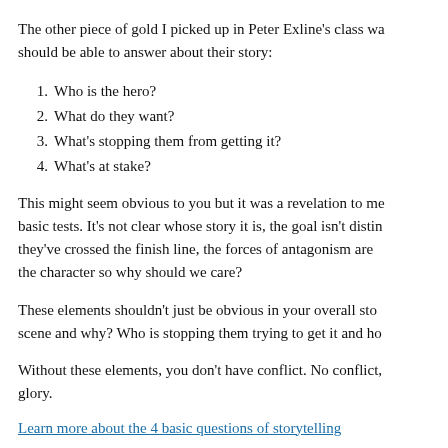The other piece of gold I picked up in Peter Exline’s class was a list of questions every writer should be able to answer about their story:
1. Who is the hero?
2. What do they want?
3. What’s stopping them from getting it?
4. What’s at stake?
This might seem obvious to you but it was a revelation to me. So many scripts fail these basic tests. It’s not clear whose story it is, the goal isn’t distinct, we can’t tell when they’ve crossed the finish line, the forces of antagonism are weak, and we don’t care about the character so why should we care?
These elements shouldn’t just be obvious in your overall story. What does the hero want in each scene and why? Who is stopping them trying to get it and how?
Without these elements, you don’t have conflict. No conflict, no drama. No drama, no glory.
Learn more about the 4 basic questions of storytelling